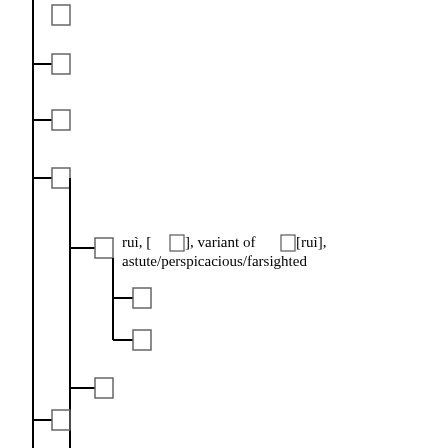[Figure (other): Tree diagram showing hierarchical structure of Chinese characters with branch lines. One node contains the text: ruì, [□], variant of □[ruì], astute/perspicacious/farsighted]
ruì, [□], variant of □[ruì], astute/perspicacious/farsighted